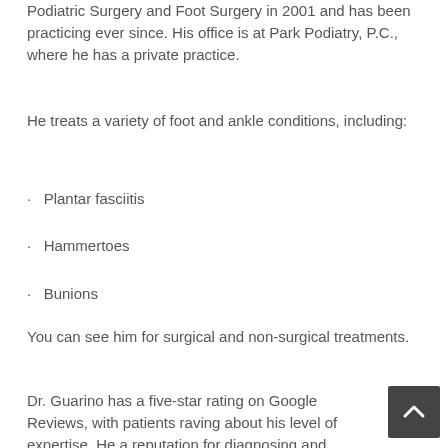Podiatric Surgery and Foot Surgery in 2001 and has been practicing ever since. His office is at Park Podiatry, P.C., where he has a private practice.
He treats a variety of foot and ankle conditions, including:
Plantar fasciitis
Hammertoes
Bunions
You can see him for surgical and non-surgical treatments.
Dr. Guarino has a five-star rating on Google Reviews, with patients raving about his level of expertise. He a reputation for diagnosing and treating issues that other doctors miss. He is also friendly and kind, so he'll put